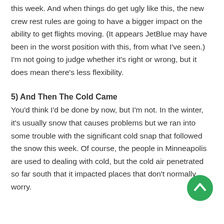this week. And when things do get ugly like this, the new crew rest rules are going to have a bigger impact on the ability to get flights moving. (It appears JetBlue may have been in the worst position with this, from what I've seen.) I'm not going to judge whether it's right or wrong, but it does mean there's less flexibility.
5) And Then The Cold Came
You'd think I'd be done by now, but I'm not. In the winter, it's usually snow that causes problems but we ran into some trouble with the significant cold snap that followed the snow this week. Of course, the people in Minneapolis are used to dealing with cold, but the cold air penetrated so far south that it impacted places that don't normally worry.